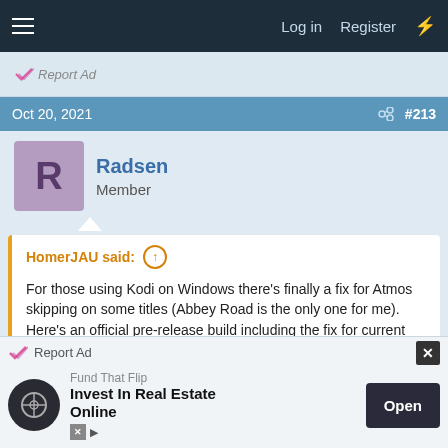Log in  Register
[Figure (screenshot): Report Ad banner with checkmark logo]
Oct 20, 2021  #213
Radsen
Member
HomerJAU said: ↑

For those using Kodi on Windows there's finally a fix for Atmos skipping on some titles (Abbey Road is the only one for me). Here's an official pre-release build including the fix for current Kodi 19.2:

Files...

This fix will be available in next Kodi for all platforms, Kodi 19.3
[Figure (screenshot): Bottom advertisement banner: Fund That Flip - Invest In Real Estate Online, Open button]